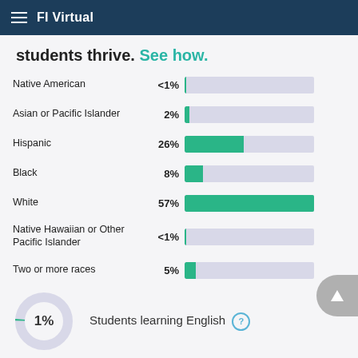FI Virtual
students thrive. See how.
[Figure (bar-chart): Student demographics by race/ethnicity]
[Figure (donut-chart): Students learning English]